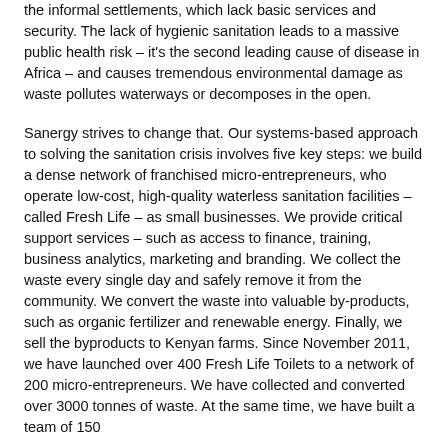the informal settlements, which lack basic services and security. The lack of hygienic sanitation leads to a massive public health risk – it's the second leading cause of disease in Africa – and causes tremendous environmental damage as waste pollutes waterways or decomposes in the open.
Sanergy strives to change that. Our systems-based approach to solving the sanitation crisis involves five key steps: we build a dense network of franchised micro-entrepreneurs, who operate low-cost, high-quality waterless sanitation facilities – called Fresh Life – as small businesses. We provide critical support services – such as access to finance, training, business analytics, marketing and branding. We collect the waste every single day and safely remove it from the community. We convert the waste into valuable by-products, such as organic fertilizer and renewable energy. Finally, we sell the byproducts to Kenyan farms. Since November 2011, we have launched over 400 Fresh Life Toilets to a network of 200 micro-entrepreneurs. We have collected and converted over 3000 tonnes of waste. At the same time, we have built a team of 150 ...